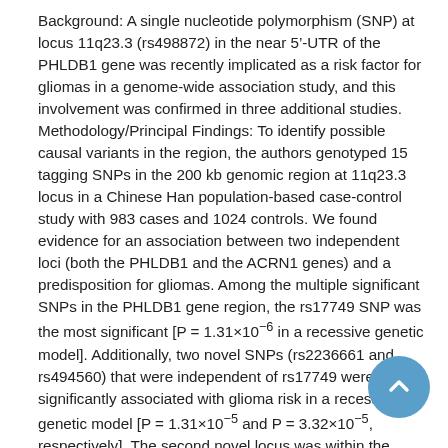Background: A single nucleotide polymorphism (SNP) at locus 11q23.3 (rs498872) in the near 5'-UTR of the PHLDB1 gene was recently implicated as a risk factor for gliomas in a genome-wide association study, and this involvement was confirmed in three additional studies. Methodology/Principal Findings: To identify possible causal variants in the region, the authors genotyped 15 tagging SNPs in the 200 kb genomic region at 11q23.3 locus in a Chinese Han population-based case-control study with 983 cases and 1024 controls. We found evidence for an association between two independent loci (both the PHLDB1 and the ACRN1 genes) and a predisposition for gliomas. Among the multiple significant SNPs in the PHLDB1 gene region, the rs17749 SNP was the most significant [P = 1.31×10⁻⁶ in a recessive genetic model]. Additionally, two novel SNPs (rs2236661 and rs494560) that were independent of rs17749 were significantly associated with glioma risk in a recessive genetic model [P = 1.31×10⁻⁵ and P = 3.32×10⁻⁵, respectively]. The second novel locus was within the ARCN1 gene, and it was associated with a significantly reduced risk for glioma. Conclusions/Significance: Our data strongly support PHLDB1 as a susceptibility gene for glioma, also shedding light on a new potentially candidate gene, ARCN1.